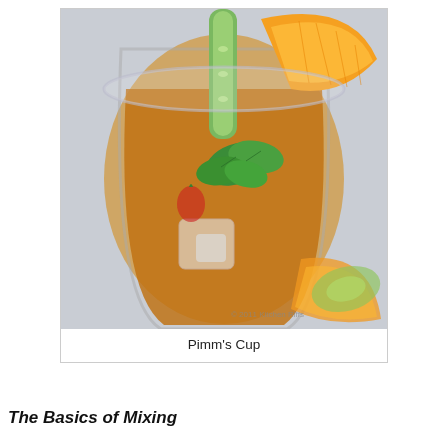[Figure (photo): A glass cocktail (Pimm's Cup) filled with amber liquid, ice, cucumber slices, mint leaves, and an orange wedge garnish, photographed from above on a light grey background. Watermark: © 2011 Kitchen Riffs.]
Pimm's Cup
The Basics of Mixing